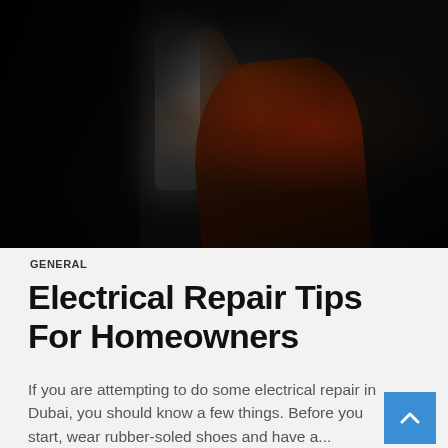[Figure (photo): Person in orange/red clothing reaching up to install or repair a light fixture on a dark wall]
GENERAL
Electrical Repair Tips For Homeowners
If you are attempting to do some electrical repair in Dubai, you should know a few things. Before you start, wear rubber-soled shoes and have a...